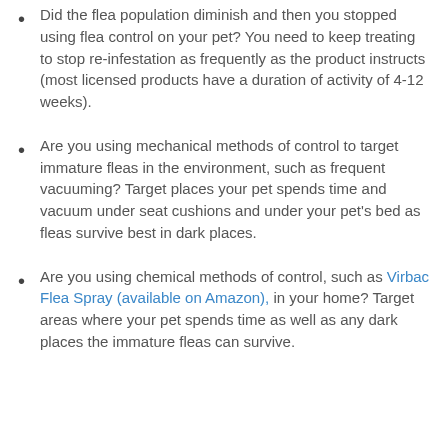Did the flea population diminish and then you stopped using flea control on your pet? You need to keep treating to stop re-infestation as frequently as the product instructs (most licensed products have a duration of activity of 4-12 weeks).
Are you using mechanical methods of control to target immature fleas in the environment, such as frequent vacuuming? Target places your pet spends time and vacuum under seat cushions and under your pet's bed as fleas survive best in dark places.
Are you using chemical methods of control, such as Virbac Flea Spray (available on Amazon), in your home? Target areas where your pet spends time as well as any dark places the immature fleas can survive.